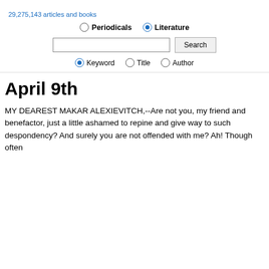29,275,143 articles and books
Periodicals  Literature (radio buttons for search type)
Search bar with Search button and Keyword / Title / Author options
April 9th
MY DEAREST MAKAR ALEXIEVITCH,--Are not you, my friend and benefactor, just a little ashamed to repine and give way to such despondency? And surely you are not offended with me? Ah! Though often